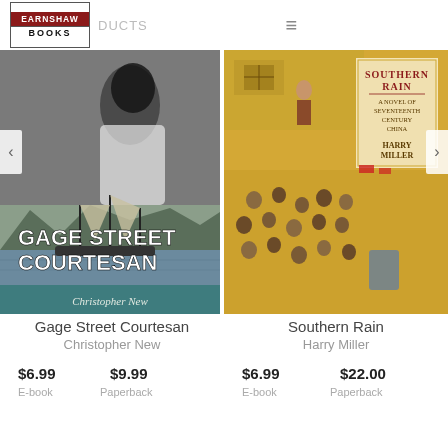EARNSHAW BOOKS — PRODUCTS
[Figure (illustration): Book cover for Gage Street Courtesan by Christopher New — black and white photo of a woman in white dress against stone wall, lower half shows sailing ships in harbor with mountains behind, title text overlay]
[Figure (illustration): Book cover for Southern Rain by Harry Miller — Chinese painting style illustration of a crowded scene with many figures, red and beige color panel on right with title text 'Southern Rain: A Novel of Seventeenth Century China']
Gage Street Courtesan
Christopher New
$6.99
$9.99
E-book
Paperback
Southern Rain
Harry Miller
$6.99
$22.00
E-book
Paperback